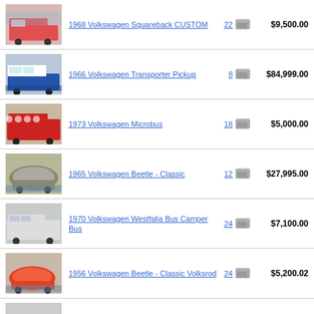1968 Volkswagen Squareback CUSTOM | 22 photos | $9,500.00
1966 Volkswagen Transporter Pickup | 8 photos | $84,999.00
1973 Volkswagen Microbus | 18 photos | $5,000.00
1965 Volkswagen Beetle - Classic | 12 photos | $27,995.00
1970 Volkswagen Westfalia Bus Camper Bus | 24 photos | $7,100.00
1956 Volkswagen Beetle - Classic Volksrod | 24 photos | $5,200.02